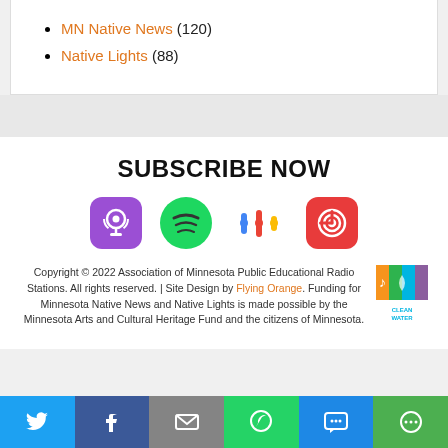MN Native News (120)
Native Lights (88)
SUBSCRIBE NOW
[Figure (logo): Apple Podcasts icon - purple rounded square with podcast symbol]
[Figure (logo): Spotify icon - green circle with sound waves]
[Figure (logo): Google Podcasts icon - colorful dots pattern]
[Figure (logo): Pocket Casts icon - red circle with headphones symbol]
Copyright © 2022 Association of Minnesota Public Educational Radio Stations. All rights reserved. | Site Design by Flying Orange. Funding for Minnesota Native News and Native Lights is made possible by the Minnesota Arts and Cultural Heritage Fund and the citizens of Minnesota.
[Figure (logo): Clean Water Land & Legacy Amendment logo]
Social share bar: Twitter, Facebook, Email, WhatsApp, SMS, More